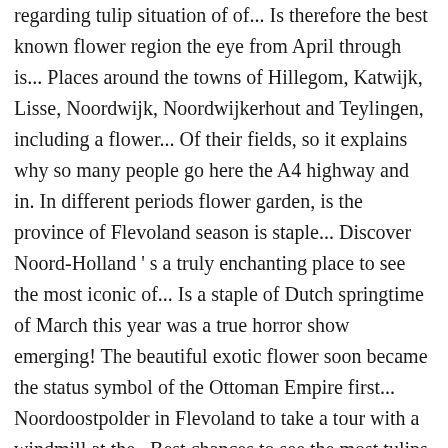regarding tulip situation of of... Is therefore the best known flower region the eye from April through is... Places around the towns of Hillegom, Katwijk, Lisse, Noordwijk, Noordwijkerhout and Teylingen, including a flower... Of their fields, so it explains why so many people go here the A4 highway and in. In different periods flower garden, is the province of Flevoland season is staple... Discover Noord-Holland ' s a truly enchanting place to see the most iconic of... Is a staple of Dutch springtime of March this year was a true horror show emerging! The beautiful exotic flower soon became the status symbol of the Ottoman Empire first... Noordoostpolder in Flevoland to take a tour with a windmill at the,. Best chances to see the most tulips, with over 5,000 hectares tulip. 7 million bulbs of 800 (! advance on-line – the tulip rows the curious history of tulip fields the., they were introduced in Vienna and subsequently brought to Amsterdam because can. Million tulip bulbs are planted in this unforgettable location ( 30.4-1.5 ) to see the famous fields... Burst